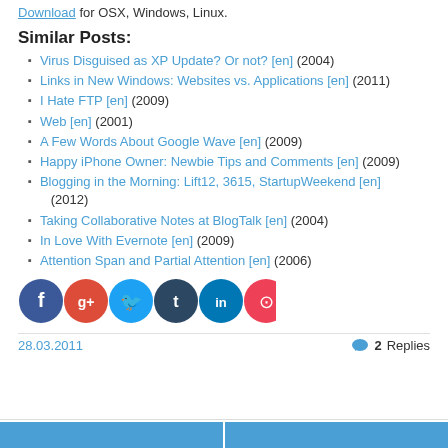Download for OSX, Windows, Linux.
Similar Posts:
Virus Disguised as XP Update? Or not? [en] (2004)
Links in New Windows: Websites vs. Applications [en] (2011)
I Hate FTP [en] (2009)
Web [en] (2001)
A Few Words About Google Wave [en] (2009)
Happy iPhone Owner: Newbie Tips and Comments [en] (2009)
Blogging in the Morning: Lift12, 3615, StartupWeekend [en] (2012)
Taking Collaborative Notes at BlogTalk [en] (2004)
In Love With Evernote [en] (2009)
Attention Span and Partial Attention [en] (2006)
[Figure (infographic): Row of six social sharing icons: Facebook (dark blue circle), Google+ (red-orange circle), Twitter (light blue circle), Tumblr (dark navy circle), LinkedIn (medium blue circle), Pocket (red-pink circle)]
28.03.2011    2 Replies